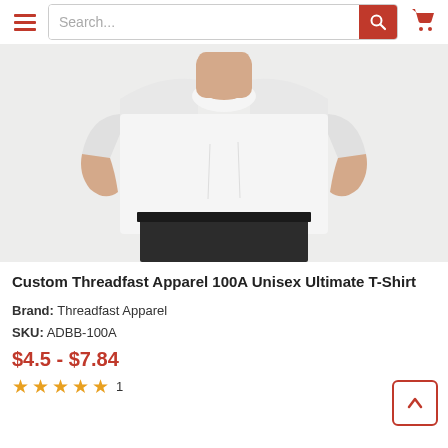Search...
[Figure (photo): Man wearing a plain white crew-neck t-shirt with black pants, torso and arms visible, photographed against a light gray background.]
Custom Threadfast Apparel 100A Unisex Ultimate T-Shirt
Brand: Threadfast Apparel
SKU: ADBB-100A
$4.5 - $7.84
★★★★★ 1